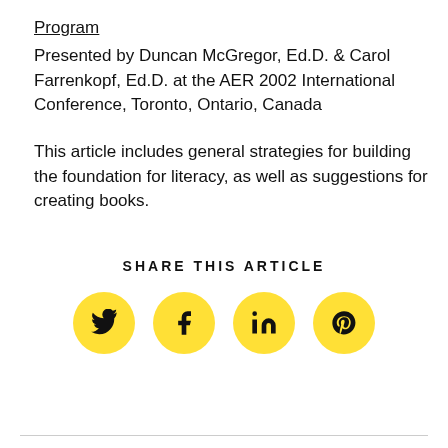Program
Presented by Duncan McGregor, Ed.D. & Carol Farrenkopf, Ed.D. at the AER 2002 International Conference, Toronto, Ontario, Canada
This article includes general strategies for building the foundation for literacy, as well as suggestions for creating books.
SHARE THIS ARTICLE
[Figure (infographic): Four yellow circular social media sharing icons for Twitter, Facebook, LinkedIn, and Pinterest]